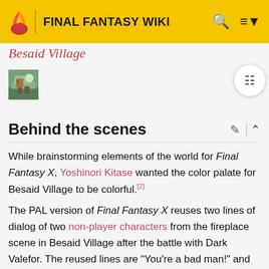FINAL FANTASY WIKI
Besaid Village (partial, italic, pink)
[Figure (photo): Small thumbnail image of Besaid Village scene]
Behind the scenes
While brainstorming elements of the world for Final Fantasy X, Yoshinori Kitase wanted the color palate for Besaid Village to be colorful.[2]
The PAL version of Final Fantasy X reuses two lines of dialog of two non-player characters from the fireplace scene in Besaid Village after the battle with Dark Valefor. The reused lines are "You're a bad man!" and "Stay away